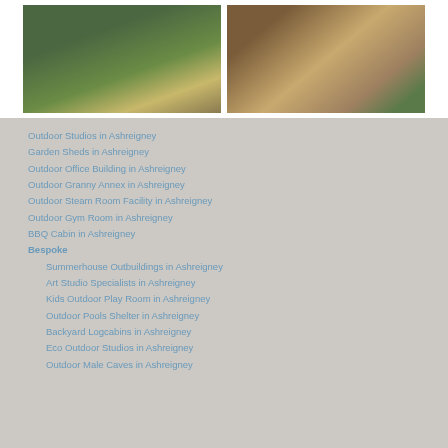[Figure (photo): Two outdoor garden building photos side by side: left shows a garden studio/cabin with wooden structure and green garden surroundings; right shows a wooden deck/platform being constructed outside a shed.]
Outdoor Studios in Ashreigney
Garden Sheds in Ashreigney
Outdoor Office Building in Ashreigney
Outdoor Granny Annex in Ashreigney
Outdoor Steam Room Facility in Ashreigney
Outdoor Gym Room in Ashreigney
BBQ Cabin in Ashreigney
Bespoke
Summerhouse Outbuildings in Ashreigney
Art Studio Specialists in Ashreigney
Kids Outdoor Play Room in Ashreigney
Outdoor Pools Shelter in Ashreigney
Backyard Logcabins in Ashreigney
Eco Outdoor Studios in Ashreigney
Outdoor Male Caves in Ashreigney